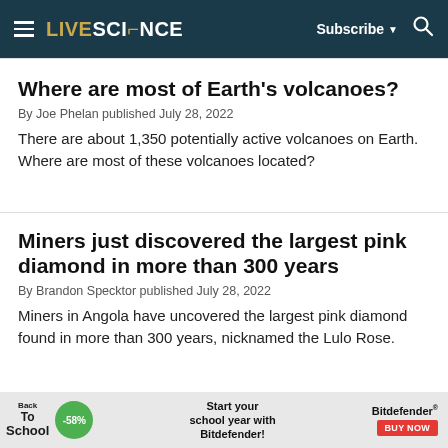LiveScience — Subscribe | Search
Where are most of Earth's volcanoes?
By Joe Phelan published July 28, 2022
There are about 1,350 potentially active volcanoes on Earth. Where are most of these volcanoes located?
Miners just discovered the largest pink diamond in more than 300 years
By Brandon Specktor published July 28, 2022
Miners in Angola have uncovered the largest pink diamond found in more than 300 years, nicknamed the Lulo Rose.
[Figure (other): Advertisement banner for Bitdefender Back to School sale with -58% discount and Buy Now button]